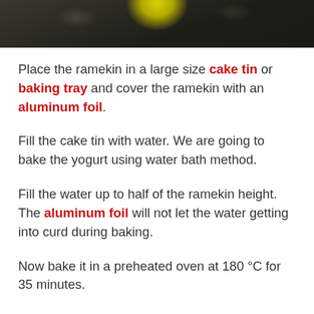[Figure (photo): Top portion of a photo showing a dark rocky surface with a yellow-green element at the top center, cropped at the bottom edge of the strip.]
Place the ramekin in a large size cake tin or baking tray and cover the ramekin with an aluminum foil.
Fill the cake tin with water. We are going to bake the yogurt using water bath method.
Fill the water up to half of the ramekin height.  The aluminum foil will not let the water getting into curd during baking.
Now bake it in a preheated oven at 180 °C for 35 minutes.